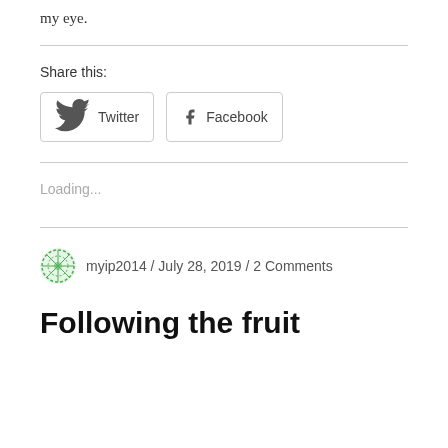my eye.
Share this:
[Figure (other): Twitter and Facebook share buttons]
Loading...
myip2014 / July 28, 2019 / 2 Comments
Following the fruit